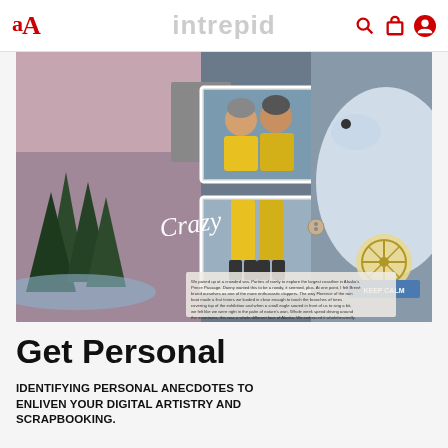aA  intrepid
[Figure (photo): A colorful scrapbook collage page featuring travel photos of two people in yellow rain gear, scenic Alaskan landscape with pine trees and waterway, a close-up of a beluga whale, decorative elements including a 'Crazy' handwritten script overlay, a 'Keep Calm' badge, and a paragraph of personal travel anecdote text at the bottom.]
Get Personal
IDENTIFYING PERSONAL ANECDOTES TO ENLIVEN YOUR DIGITAL ARTISTRY AND SCRAPBOOKING.